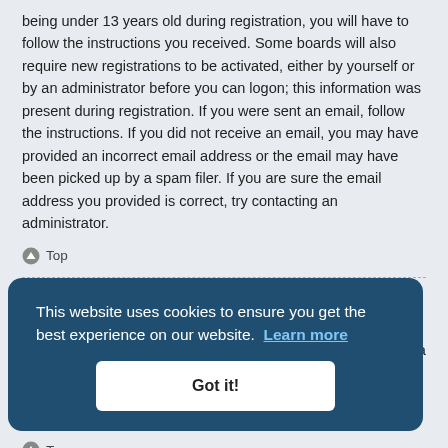being under 13 years old during registration, you will have to follow the instructions you received. Some boards will also require new registrations to be activated, either by yourself or by an administrator before you can logon; this information was present during registration. If you were sent an email, follow the instructions. If you did not receive an email, you may have provided an incorrect email address or the email may have been picked up by a spam filer. If you are sure the email address you provided is correct, try contacting an administrator.
Top
Why can't I login?
There are several reasons why this could occur. First, ensure your username and password are correct. If they are, contact a board administrator to make sure you haven't been banned. It is also possible the website owner has a configuration error on their end, and they would need to fix it.
Top
I registered in the past but cannot login any more?! ... for some reason. Also, many boards periodically remove users who have not posted for a long time to reduce the size of the database. If this has happened, try registering again and being more involved in discussions.
Top
This website uses cookies to ensure you get the best experience on our website. Learn more
Got it!